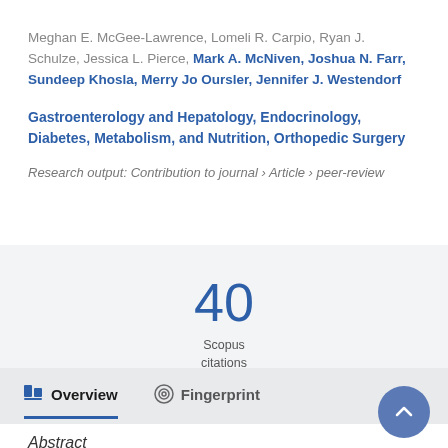Meghan E. McGee-Lawrence, Lomeli R. Carpio, Ryan J. Schulze, Jessica L. Pierce, Mark A. McNiven, Joshua N. Farr, Sundeep Khosla, Merry Jo Oursler, Jennifer J. Westendorf
Gastroenterology and Hepatology, Endocrinology, Diabetes, Metabolism, and Nutrition, Orthopedic Surgery
Research output: Contribution to journal › Article › peer-review
40 Scopus citations
Overview
Fingerprint
Abstract